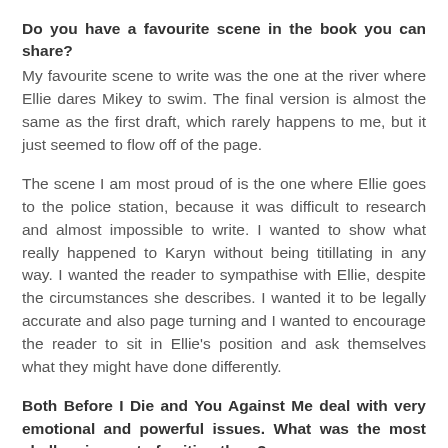Do you have a favourite scene in the book you can share?
My favourite scene to write was the one at the river where Ellie dares Mikey to swim. The final version is almost the same as the first draft, which rarely happens to me, but it just seemed to flow off of the page.
The scene I am most proud of is the one where Ellie goes to the police station, because it was difficult to research and almost impossible to write. I wanted to show what really happened to Karyn without being titillating in any way. I wanted the reader to sympathise with Ellie, despite the circumstances she describes. I wanted it to be legally accurate and also page turning and I wanted to encourage the reader to sit in Ellie’s position and ask themselves what they might have done differently.
Both Before I Die and You Against Me deal with very emotional and powerful issues. What was the most challenging part of writing them?
The common advice to writers is to write what you know –